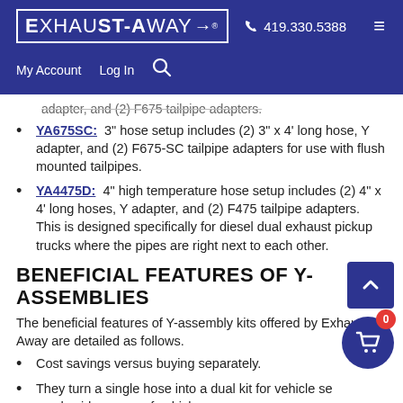Exhaust-Away | 419.330.5388
YA675SC: 3" hose setup includes (2) 3" x 4' long hose, Y adapter, and (2) F675-SC tailpipe adapters for use with flush mounted tailpipes.
YA4475D: 4" high temperature hose setup includes (2) 4" x 4' long hoses, Y adapter, and (2) F475 tailpipe adapters. This is designed specifically for diesel dual exhaust pickup trucks where the pipes are right next to each other.
BENEFICIAL FEATURES OF Y-ASSEMBLIES
The beneficial features of Y-assembly kits offered by Exhaust-Away are detailed as follows.
Cost savings versus buying separately.
They turn a single hose into a dual kit for vehicle service, much wider range of vehicles.
Avoids tying up multiple single hose systems on one vehicle.